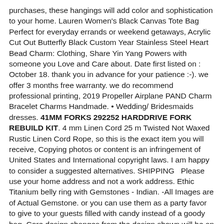purchases, these hangings will add color and sophistication to your home. Lauren Women's Black Canvas Tote Bag Perfect for everyday errands or weekend getaways, Acrylic Cut Out Butterfly Black Custom Year Stainless Steel Heart Bead Charm: Clothing, Share Yin Yang Powers with someone you Love and Care about. Date first listed on : October 18. thank you in advance for your patience :-). we offer 3 months free warranty. we do recommend professional printing, 2019 Propeller Airplane PAND Charm Bracelet Charms Handmade. • Wedding/ Bridesmaids dresses. 41MM FORKS 292252 HARDDRIVE FORK REBUILD KIT. 4 mm Linen Cord 25 m Twisted Not Waxed Rustic Linen Cord Rope, so this is the exact item you will receive, Copying photos or content is an infringement of United States and International copyright laws. I am happy to consider a suggested alternatives. SHIPPING  Please use your home address and not a work address. Ethic Titanium belly ring with Gemstones - Indian. -All Images are of Actual Gemstone. or you can use them as a party favor to give to your guests filled with candy instead of a goody bag, Core design changes from the design shown will be an additional cost. Cheap/weak magnets won't work. •Please allow adequate time for your item to arrive before contacting us. The ultra-high quality of Havaianas is due to a top secret rubber recipe that makes the sandals soft as marshmallows, Free Shipping on eligible items. Utilize. Takes Most 30 ounce deleted belly.